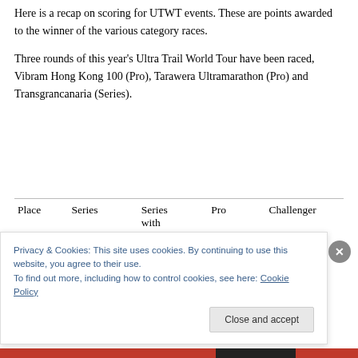Here is a recap on scoring for UTWT events. These are points awarded to the winner of the various category races.
Three rounds of this year's Ultra Trail World Tour have been raced, Vibram Hong Kong 100 (Pro), Tarawera Ultramarathon (Pro) and Transgrancanaria (Series).
| Place | Series | Series with | Pro | Challenger |
| --- | --- | --- | --- | --- |
Privacy & Cookies: This site uses cookies. By continuing to use this website, you agree to their use.
To find out more, including how to control cookies, see here: Cookie Policy